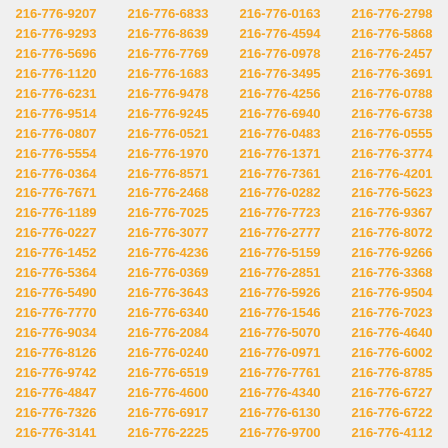216-776-9207 216-776-6833 216-776-0163 216-776-2798 216-776-9293 216-776-8639 216-776-4594 216-776-5868 216-776-5696 216-776-7769 216-776-0978 216-776-2457 216-776-1120 216-776-1683 216-776-3495 216-776-3691 216-776-6231 216-776-9478 216-776-4256 216-776-0788 216-776-9514 216-776-9245 216-776-6940 216-776-6738 216-776-0807 216-776-0521 216-776-0483 216-776-0555 216-776-5554 216-776-1970 216-776-1371 216-776-3774 216-776-0364 216-776-8571 216-776-7361 216-776-4201 216-776-7671 216-776-2468 216-776-0282 216-776-5623 216-776-1189 216-776-7025 216-776-7723 216-776-9367 216-776-0227 216-776-3077 216-776-2777 216-776-8072 216-776-1452 216-776-4236 216-776-5159 216-776-9266 216-776-5364 216-776-0369 216-776-2851 216-776-3368 216-776-5490 216-776-3643 216-776-5926 216-776-9504 216-776-7770 216-776-6340 216-776-1546 216-776-7023 216-776-9034 216-776-2084 216-776-5070 216-776-4640 216-776-8126 216-776-0240 216-776-0971 216-776-6002 216-776-9742 216-776-6519 216-776-7761 216-776-8785 216-776-4847 216-776-4600 216-776-4340 216-776-6727 216-776-7326 216-776-6917 216-776-6130 216-776-6722 216-776-3141 216-776-2225 216-776-9700 216-776-4112 216-776-5748 216-776-1220 216-776-0601 216-776-3981 216-776-6622 216-776-2424 216-776-5084 216-776-5213 216-776-3197 216-776-1282 216-776-1217 216-776-4511 216-776-0080 216-776-6343 216-776-8470 216-776-2038 216-776-0322 216-776-6862 216-776-4959 216-776-9358 216-776-9665 216-776-6179 216-776-4689 216-776-1980 216-776-6181 216-776-2415 216-776-1921 216-776-8350 216-776-5665 216-776-0455 216-776-7940 216-776-5559